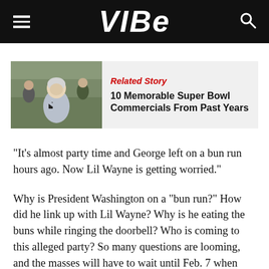VIBE
[Figure (photo): Older woman on a sports field holding what appears to be a small object, related story thumbnail image]
Related Story
10 Memorable Super Bowl Commercials From Past Years
“It’s almost party time and George left on a bun run hours ago. Now Lil Wayne is getting worried.”
Why is President Washington on a “bun run?” How did he link up with Lil Wayne? Why is he eating the buns while ringing the doorbell? Who is coming to this alleged party? So many questions are looming, and the masses will have to wait until Feb. 7 when